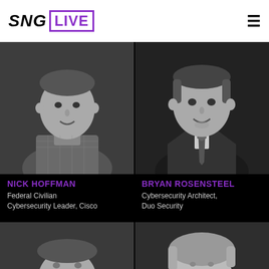SNG LIVE
[Figure (photo): Black and white headshot of Nick Hoffman, a man in a plaid shirt, smiling]
[Figure (photo): Black and white headshot of Bryan Rosensteel, a man in a suit and tie, smiling]
NICK HOFFMAN
Federal Civilian Cybersecurity Leader, Cisco
BRYAN ROSENSTEEL
Cybersecurity Architect, Duo Security
[Figure (photo): Black and white headshot of a man, partially visible, bottom of page]
[Figure (photo): Black and white headshot of a woman with blonde hair, partially visible, bottom of page]